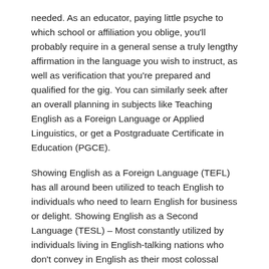needed. As an educator, paying little psyche to which school or affiliation you oblige, you'll probably require in a general sense a truly lengthy affirmation in the language you wish to instruct, as well as verification that you're prepared and qualified for the gig. You can similarly seek after an overall planning in subjects like Teaching English as a Foreign Language or Applied Linguistics, or get a Postgraduate Certificate in Education (PGCE).
Showing English as a Foreign Language (TEFL) has all around been utilized to teach English to individuals who need to learn English for business or delight. Showing English as a Second Language (TESL) – Most constantly utilized by individuals living in English-talking nations who don't convey in English as their most colossal language. The American Language Center offers English as a Second Language (ESL) programs for grown-up students and is searching for dynamic instructors to show 5-15 hours out of dependably.